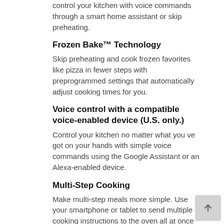control your kitchen with voice commands through a smart home assistant or skip preheating.
Frozen Bake™ Technology
Skip preheating and cook frozen favorites like pizza in fewer steps with preprogrammed settings that automatically adjust cooking times for you.
Voice control with a compatible voice-enabled device (U.S. only.)
Control your kitchen no matter what you ve got on your hands with simple voice commands using the Google Assistant or an Alexa-enabled device.
Multi-Step Cooking
Make multi-step meals more simple. Use your smartphone or tablet to send multiple cooking instructions to the oven all at once
Steam Clean option
Clean up after everyday light spills using only heat and 1-1/4 cups of water-no harsh chemicals or cleaners needed. Used periodically to clean light spills on the bottom of the oven, it keeps the oven clean and reduces the need for